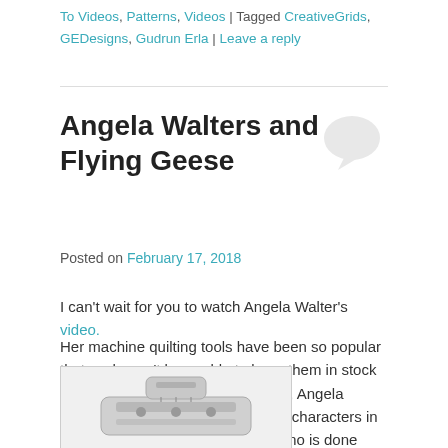To Videos, Patterns, Videos | Tagged CreativeGrids, GEDesigns, Gudrun Erla | Leave a reply
Angela Walters and Flying Geese
Posted on February 17, 2018
I can't wait for you to watch Angela Walter's video.
Her machine quilting tools have been so popular that we haven't been able to keep them in stock – but they are NOW!!! In this video, Angela shows how to use Slim, one of the characters in her arsenal of tools. The entire demo is done with a Cut Loose Press™ pattern created with the Creative Grids® Ultimate Flying Geese Tool.
[Figure (photo): Partial photo of a quilting tool/ruler at the bottom of the page]